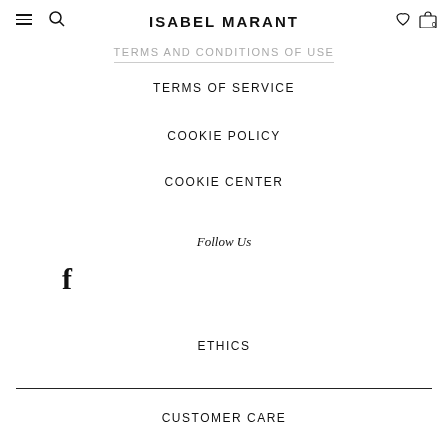ISABEL MARANT
TERMS AND CONDITIONS OF USE
TERMS OF SERVICE
COOKIE POLICY
COOKIE CENTER
Follow Us
[Figure (other): Facebook social media icon (f)]
ETHICS
CUSTOMER CARE